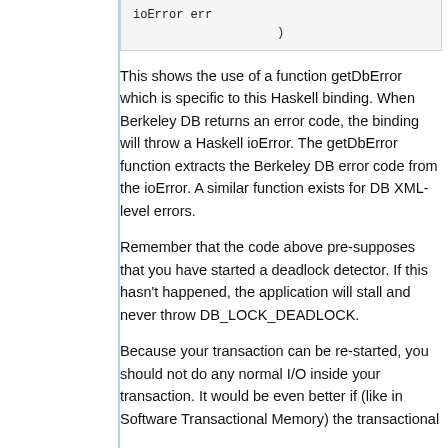ioError err
                    )
This shows the use of a function getDbError which is specific to this Haskell binding. When Berkeley DB returns an error code, the binding will throw a Haskell ioError. The getDbError function extracts the Berkeley DB error code from the ioError. A similar function exists for DB XML-level errors.
Remember that the code above pre-supposes that you have started a deadlock detector. If this hasn't happened, the application will stall and never throw DB_LOCK_DEADLOCK.
Because your transaction can be re-started, you should not do any normal I/O inside your transaction. It would be even better if (like in Software Transactional Memory) the transactional